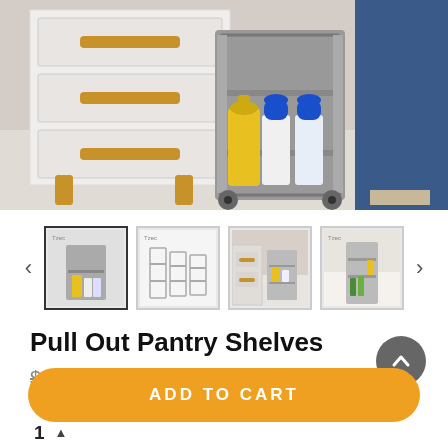[Figure (photo): Product photo of a gray pull-out pantry shelf unit on wheels with laundry detergent bottles, next to a white cabinet with wooden drawer handles, a person in jeans standing nearby.]
[Figure (photo): Thumbnail row with 4 product images and left/right navigation arrows. First thumbnail (active/selected) shows the shelf with items, second shows line-drawing/schematic, third shows a kitchen scene, fourth shows the shelf against a wall.]
Pull Out Pantry Shelves
$99.99  $48.45
ADD TO CART
1